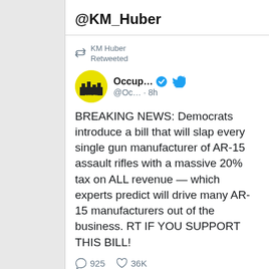@KM_Huber
KM Huber Retweeted
[Figure (logo): Occupy Democrats yellow circle logo with cityscape and text]
Occup... @Oc... · 8h
BREAKING NEWS: Democrats introduce a bill that will slap every single gun manufacturer of AR-15 assault rifles with a massive 20% tax on ALL revenue — which experts predict will drive many AR-15 manufacturers out of the business. RT IF YOU SUPPORT THIS BILL!
925   36K
KM Huber Retweeted